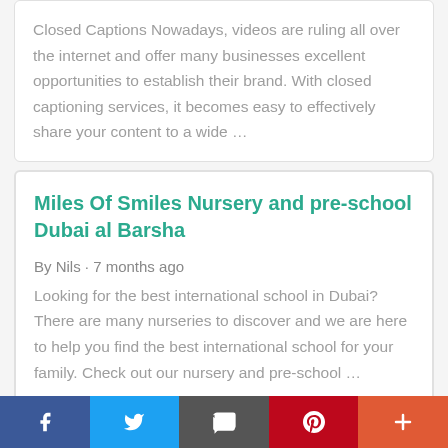Closed Captions Nowadays, videos are ruling all over the internet and offer many businesses excellent opportunities to establish their brand. With closed captioning services, it becomes easy to effectively share your content to a wide ...
Miles Of Smiles Nursery and pre-school Dubai al Barsha
By Nils · 7 months ago
Looking for the best international school in Dubai? There are many nurseries to discover and we are here to help you find the best international school for your family. Check out our nursery and pre-school ...
Facebook | Twitter | Email | Pinterest | More